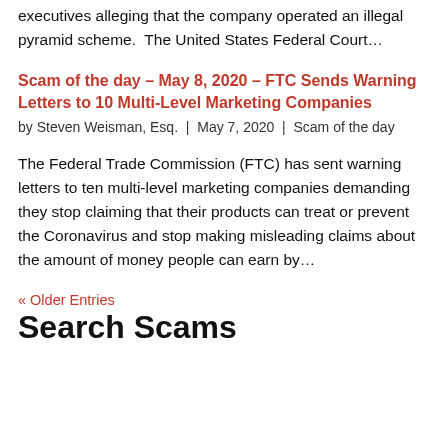executives alleging that the company operated an illegal pyramid scheme.  The United States Federal Court…
Scam of the day – May 8, 2020 – FTC Sends Warning Letters to 10 Multi-Level Marketing Companies
by Steven Weisman, Esq. | May 7, 2020 | Scam of the day
The Federal Trade Commission (FTC) has sent warning letters to ten multi-level marketing companies demanding they stop claiming that their products can treat or prevent the Coronavirus and stop making misleading claims about the amount of money people can earn by…
« Older Entries
Search Scams